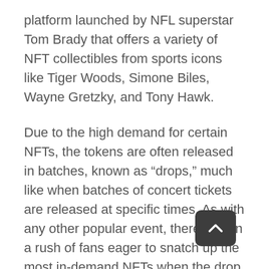platform launched by NFL superstar Tom Brady that offers a variety of NFT collectibles from sports icons like Tiger Woods, Simone Biles, Wayne Gretzky, and Tony Hawk.
Due to the high demand for certain NFTs, the tokens are often released in batches, known as “drops,” much like when batches of concert tickets are released at specific times. As with any other popular event, there’s often a rush of fans eager to snatch up the most in-demand NFTs when the drop starts, so you’ll need to pre-register and have your wallet full of crypto and ready to buy.